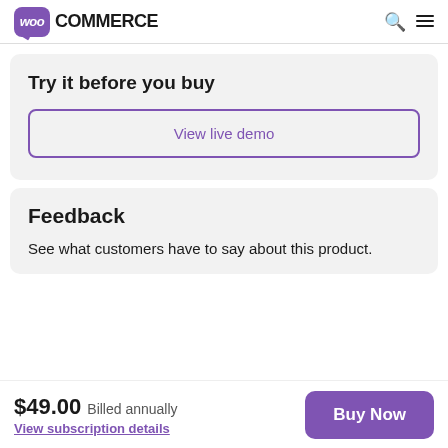WooCommerce
Try it before you buy
View live demo
Feedback
See what customers have to say about this product.
$49.00  Billed annually
View subscription details
Buy Now